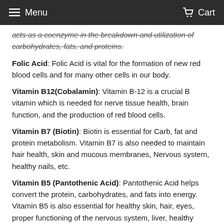Menu  Cart
acts as a coenzyme in the breakdown and utilization of carbohydrates, fats, and proteins.
Folic Acid: Folic Acid is vital for the formation of new red blood cells and for many other cells in our body.
Vitamin B12(Cobalamin): Vitamin B-12 is a crucial B vitamin which is needed for nerve tissue health, brain function, and the production of red blood cells.
Vitamin B7 (Biotin): Biotin is essential for Carb, fat and protein metabolism. Vitamin B7 is also needed to maintain hair health, skin and mucous membranes, Nervous system, healthy nails, etc.
Vitamin B5 (Pantothenic Acid): Pantothenic Acid helps convert the protein, carbohydrates, and fats into energy. Vitamin B5 is also essential for healthy skin, hair, eyes, proper functioning of the nervous system, liver, healthy digestive tract, etc.